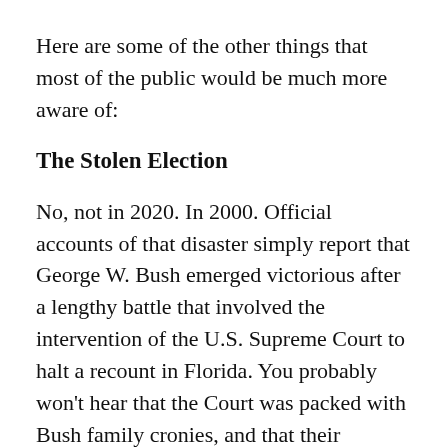Here are some of the other things that most of the public would be much more aware of:
The Stolen Election
No, not in 2020. In 2000. Official accounts of that disaster simply report that George W. Bush emerged victorious after a lengthy battle that involved the intervention of the U.S. Supreme Court to halt a recount in Florida. You probably won't hear that the Court was packed with Bush family cronies, and that their interference was